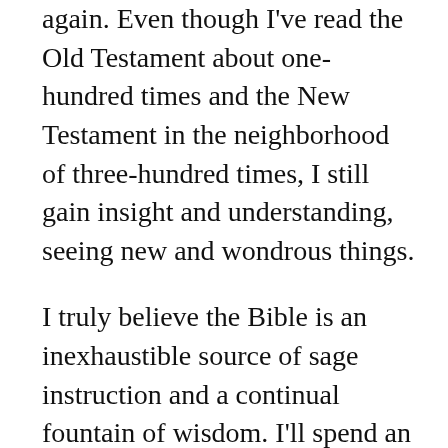again. Even though I've read the Old Testament about one-hundred times and the New Testament in the neighborhood of three-hundred times, I still gain insight and understanding, seeing new and wondrous things.
I truly believe the Bible is an inexhaustible source of sage instruction and a continual fountain of wisdom. I'll spend an eternity in heaven examining God's Word and will never reach the height, depth, length, and breadth of it's incredible, massive, and glorious precepts.
I am a strong advocate of straightforward